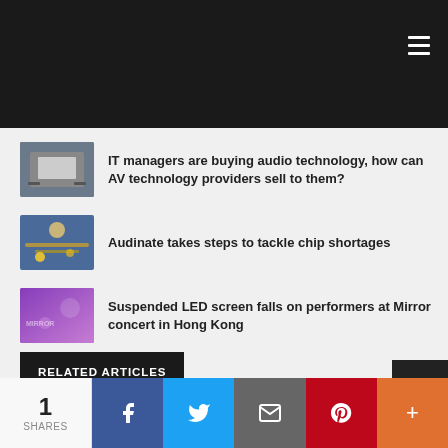IT managers are buying audio technology, how can AV technology providers sell to them?
Audinate takes steps to tackle chip shortages
Suspended LED screen falls on performers at Mirror concert in Hong Kong
RELATED ARTICLES
1 SHARES